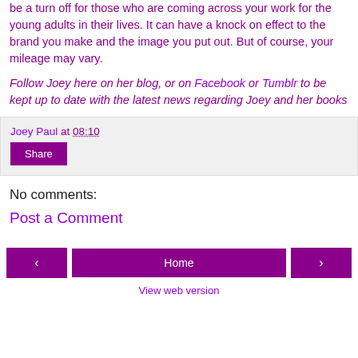be a turn off for those who are coming across your work for the young adults in their lives. It can have a knock on effect to the brand you make and the image you put out. But of course, your mileage may vary.
Follow Joey here on her blog, or on Facebook or Tumblr to be kept up to date with the latest news regarding Joey and her books
Joey Paul at 08:10
Share
No comments:
Post a Comment
< Home > View web version